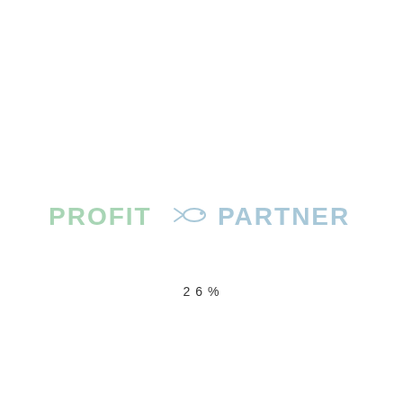[Figure (logo): Profit & Partner logo with stylized fish icon between the two words, rendered in light green and light blue colors]
26%